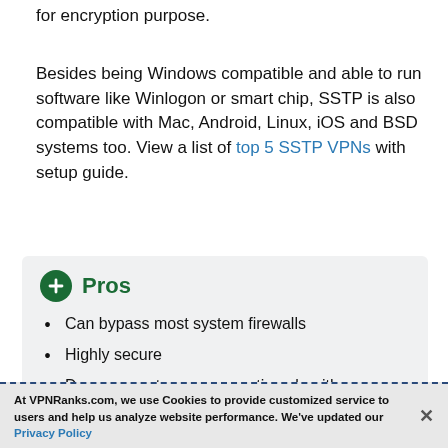for encryption purpose.
Besides being Windows compatible and able to run software like Winlogon or smart chip, SSTP is also compatible with Mac, Android, Linux, iOS and BSD systems too. View a list of top 5 SSTP VPNs with setup guide.
Pros
Can bypass most system firewalls
Highly secure
Does support many encryption algorithms
Relatively easy to use
At VPNRanks.com, we use Cookies to provide customized service to users and help us analyze website performance. We've updated our Privacy Policy